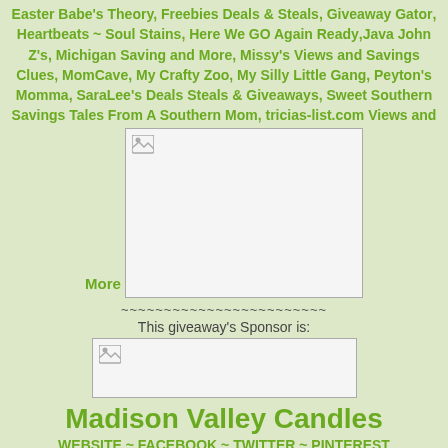Easter Babe's Theory, Freebies Deals & Steals, Giveaway Gator, Heartbeats ~ Soul Stains, Here We GO Again Ready,Java John Z's, Michigan Saving and More, Missy's Views and Savings Clues, MomCave, My Crafty Zoo, My Silly Little Gang, Peyton's Momma, SaraLee's Deals Steals & Giveaways, Sweet Southern Savings Tales From A Southern Mom, tricias-list.com Views and
[Figure (photo): Large image placeholder with broken image icon in top left corner]
More
~~~~~~~~~~~~~~~~~~~~~~~~
This giveaway's Sponsor is:
[Figure (photo): Small image placeholder with broken image icon in top left corner]
Madison Valley Candles
WEBSITE ~ FACEBOOK ~ TWITTER ~ PINTEREST
Their luxurious soy candles use only 100% soy wax and are